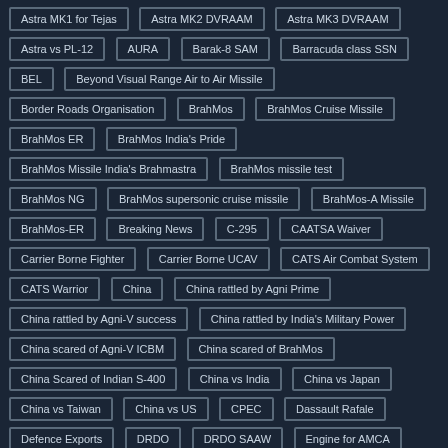Astra MK1 for Tejas
Astra MK2 DVRAAM
Astra MK3 DVRAAM
Astra vs PL-12
AURA
Barak-8 SAM
Barracuda class SSN
BEL
Beyond Visual Range Air to Air Missile
Border Roads Organisation
BrahMos
BrahMos Cruise Missile
BrahMos ER
BrahMos India's Pride
BrahMos Missile India's Brahmastra
BrahMos missile test
BrahMos NG
BrahMos supersonic cruise missile
BrahMos-A Missile
BrahMos-ER
Breaking News
C-295
CAATSA Waiver
Carrier Borne Fighter
Carrier Borne UCAV
CATS Air Combat System
CATS Warrior
China
China rattled by Agni Prime
China rattled by Agni-V success
China rattled by India's Military Power
China scared of Agni-V ICBM
China scared of BrahMos
China Scared of Indian S-400
China vs India
China vs Japan
China vs Taiwan
China vs US
CPEC
Dassault Rafale
Defence Exports
DRDO
DRDO SAAW
Engine for AMCA
HAL